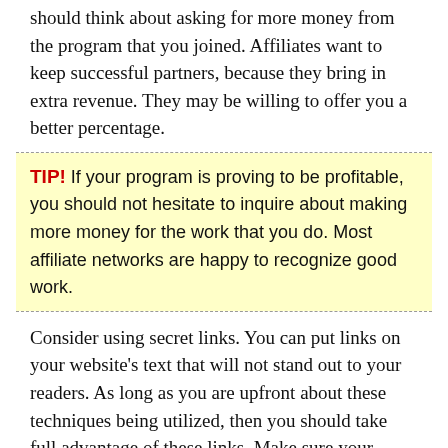should think about asking for more money from the program that you joined. Affiliates want to keep successful partners, because they bring in extra revenue. They may be willing to offer you a better percentage.
TIP! If your program is proving to be profitable, you should not hesitate to inquire about making more money for the work that you do. Most affiliate networks are happy to recognize good work.
Consider using secret links. You can put links on your website's text that will not stand out to your readers. As long as you are upfront about these techniques being utilized, then you should take full advantage of these links. Make sure your readers are never surprised by hidden links.
If your site is designed for sports, your viewers are there